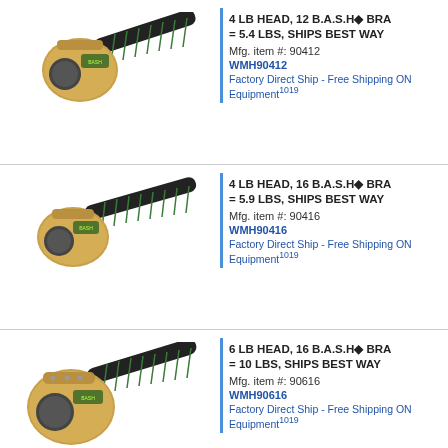[Figure (photo): Photo of a 4 LB brass hammer with black handle, model 90412]
4 LB HEAD, 12 B.A.S.H◆ BRA = 5.4 LBS, SHIPS BEST WAY
Mfg. item #: 90412
WMH90412
Factory Direct Ship - Free Shipping ON Equipment1019
[Figure (photo): Photo of a 4 LB brass hammer with black handle, model 90416]
4 LB HEAD, 16 B.A.S.H◆ BRA = 5.9 LBS, SHIPS BEST WAY
Mfg. item #: 90416
WMH90416
Factory Direct Ship - Free Shipping ON Equipment1019
[Figure (photo): Photo of a 6 LB brass hammer with black handle, model 90616]
6 LB HEAD, 16 B.A.S.H◆ BRA = 10 LBS, SHIPS BEST WAY
Mfg. item #: 90616
WMH90616
Factory Direct Ship - Free Shipping ON Equipment1019